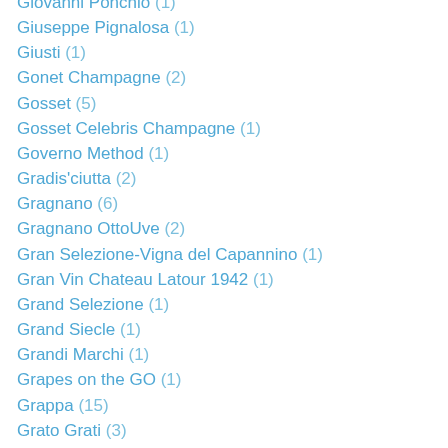Giovanni Ponchio (1)
Giuseppe Pignalosa (1)
Giusti (1)
Gonet Champagne (2)
Gosset (5)
Gosset Celebris Champagne (1)
Governo Method (1)
Gradis'ciutta (2)
Gragnano (6)
Gragnano OttoUve (2)
Gran Selezione-Vigna del Capannino (1)
Gran Vin Chateau Latour 1942 (1)
Grand Selezione (1)
Grand Siecle (1)
Grandi Marchi (1)
Grapes on the GO (1)
Grappa (15)
Grato Grati (3)
Great Palate (1)